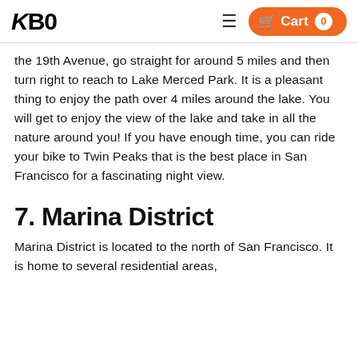KBO | Cart 0
the 19th Avenue, go straight for around 5 miles and then turn right to reach to Lake Merced Park. It is a pleasant thing to enjoy the path over 4 miles around the lake. You will get to enjoy the view of the lake and take in all the nature around you! If you have enough time, you can ride your bike to Twin Peaks that is the best place in San Francisco for a fascinating night view.
7. Marina District
Marina District is located to the north of San Francisco. It is home to several residential areas,